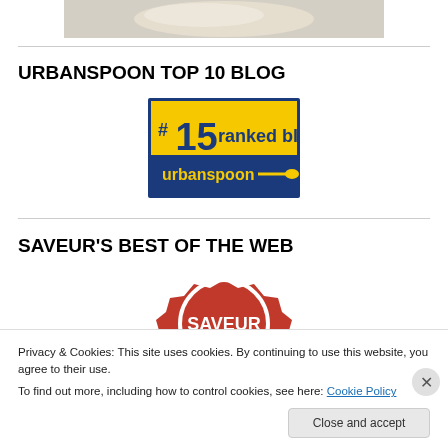[Figure (photo): Partial food photo at top of page, cropped]
URBANSPOON TOP 10 BLOG
[Figure (logo): Urbanspoon badge: #15 ranked blog urbanspoon with spoon graphic, yellow and blue colors]
SAVEUR'S BEST OF THE WEB
[Figure (logo): Saveur Best of the Web red wax seal badge, partially visible]
Privacy & Cookies: This site uses cookies. By continuing to use this website, you agree to their use.
To find out more, including how to control cookies, see here: Cookie Policy
Close and accept